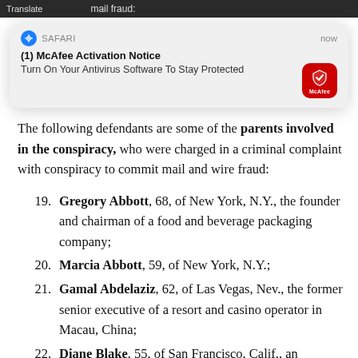[Figure (screenshot): Safari browser notification popup: '(1) McAfee Activation Notice — Turn On Your Antivirus Software To Stay Protected' with McAfee red icon, overlaid on a document page.]
The following defendants are some of the parents involved in the conspiracy, who were charged in a criminal complaint with conspiracy to commit mail and wire fraud:
19. Gregory Abbott, 68, of New York, N.Y., the founder and chairman of a food and beverage packaging company;
20. Marcia Abbott, 59, of New York, N.Y.;
21. Gamal Abdelaziz, 62, of Las Vegas, Nev., the former senior executive of a resort and casino operator in Macau, China;
22. Diane Blake, 55, of San Francisco, Calif., an executive at a retail merchandising firm;